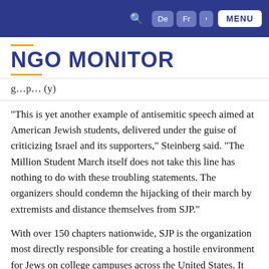NGO MONITOR — Navigation bar with De, Fr, Hebrew, MENU buttons
NGO MONITOR
g…p… (y)
“This is yet another example of antisemitic speech aimed at American Jewish students, delivered under the guise of criticizing Israel and its supporters,” Steinberg said. “The Million Student March itself does not take this line has nothing to do with these troubling statements. The organizers should condemn the hijacking of their march by extremists and distance themselves from SJP.”
With over 150 chapters nationwide, SJP is the organization most directly responsible for creating a hostile environment for Jews on college campuses across the United States. It organizes numerous pro-BDS